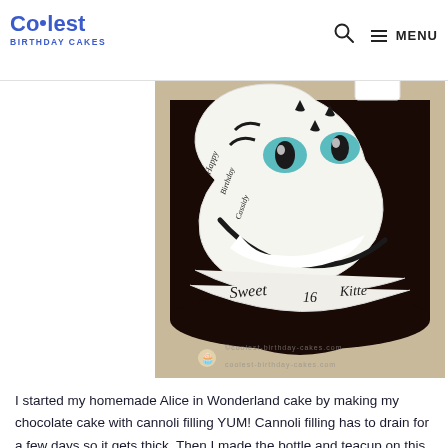Coolest Birthday Cakes | MENU
[Figure (photo): A Cheshire Cat themed Sweet 16 birthday cake with dark chocolate frosting, white swirling cat face with teal cat eyes, and the text 'Sweet 16 Kitte' written on the cake. The coolest-birthday-cakes.com watermark is visible at the bottom of the image.]
I started my homemade Alice in Wonderland cake by making my chocolate cake with cannoli filling YUM! Cannoli filling has to drain for a few days so it gets thick. Then I made the bottle and teacup on this cake and letting them dry a few days after shaping so they would hold their shape. … Read more